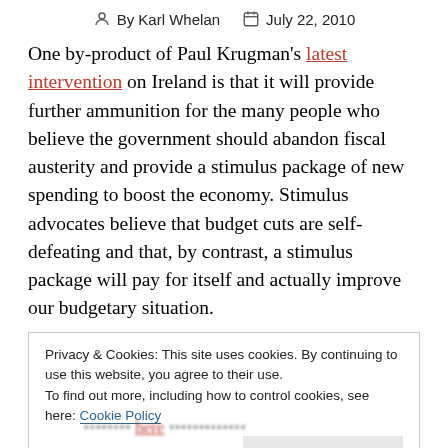By Karl Whelan   July 22, 2010
One by-product of Paul Krugman’s latest intervention on Ireland is that it will provide further ammunition for the many people who believe the government should abandon fiscal austerity and provide a stimulus package of new spending to boost the economy. Stimulus advocates believe that budget cuts are self-defeating and that, by contrast, a stimulus package will pay for itself and actually improve our budgetary situation.
I know that the majority of Irish economists don’t agree
Privacy & Cookies: This site uses cookies. By continuing to use this website, you agree to their use.
To find out more, including how to control cookies, see here: Cookie Policy
Close and accept